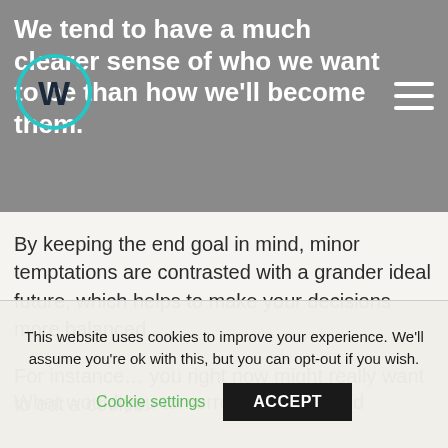We tend to have a much clearer sense of who we want to be than how we'll become them.
By keeping the end goal in mind, minor temptations are contrasted with a grander ideal future, which helps to make your decisions more balanced.
For instance… you right now might really want to eat a cookie.
What would you tomorrow have wanted
This website uses cookies to improve your experience. We'll assume you're ok with this, but you can opt-out if you wish.
Cookie settings
ACCEPT